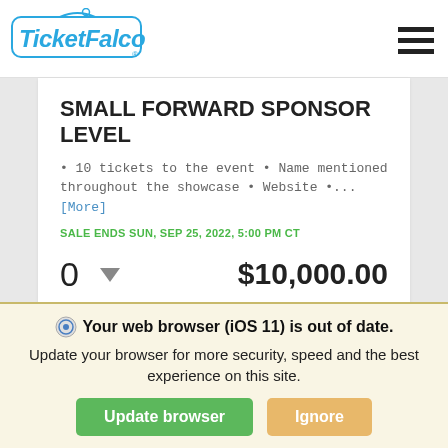[Figure (logo): TicketFalcon logo in blue with a falcon bird above the text, registered trademark symbol]
SMALL FORWARD SPONSOR LEVEL
• 10 tickets to the event • Name mentioned throughout the showcase • Website •...
[More]
SALE ENDS SUN, SEP 25, 2022, 5:00 PM CT
0  ▼  $10,000.00
Your web browser (iOS 11) is out of date. Update your browser for more security, speed and the best experience on this site.
Update browser
Ignore